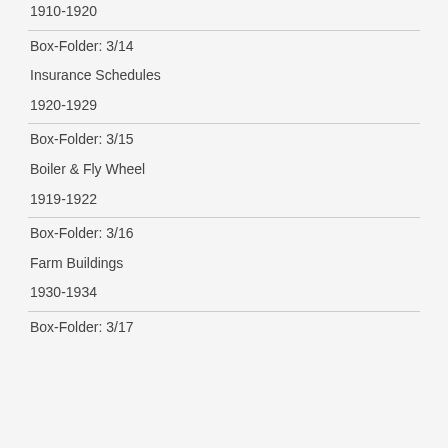1910-1920
Box-Folder: 3/14
Insurance Schedules
1920-1929
Box-Folder: 3/15
Boiler & Fly Wheel
1919-1922
Box-Folder: 3/16
Farm Buildings
1930-1934
Box-Folder: 3/17